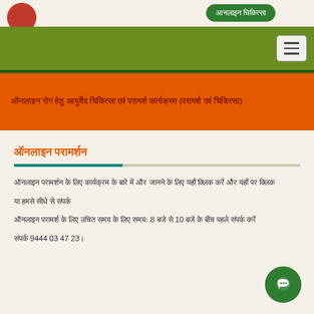आनलाइन चिकित्सा
ऑनलाइन परामर्श
ऑनलाइन परामर्शन के लिए कार्यक्रम के बारे में और जानने के लिए यहाँ क्लिक करें
या हमसे सीधे से संपर्क
ऑनलाइन परामर्श के लिए उचित समय के लिए समयः 8 बजे से 10 बजे के बीच पहले संपर्क करें
संपर्क 9444 03 47 23।